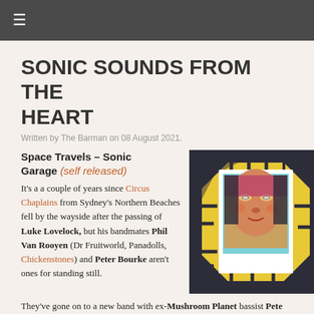≡
SONIC SOUNDS FROM THE HEART
Written by The Barman on 08 August 2021.
Space Travels – Sonic Garage (self released)
[Figure (illustration): Album cover art with a stylized face on a polaroid-style photo centered on a yellow and dark patterned geometric background]
It's a a couple of years since Circus Chaplains from Sydney's Northern Beaches fell by the wayside after the passing of Luke Lovelock, but his bandmates Phil Van Rooyen (Dr Fruitworld, Panadolls, Chickenstones) and Peter Bourke aren't ones for standing still.
They've gone on to a new band with ex-Mushroom Planet bassist Pete Trifunovic, drummer Ronny Welsh and pianist